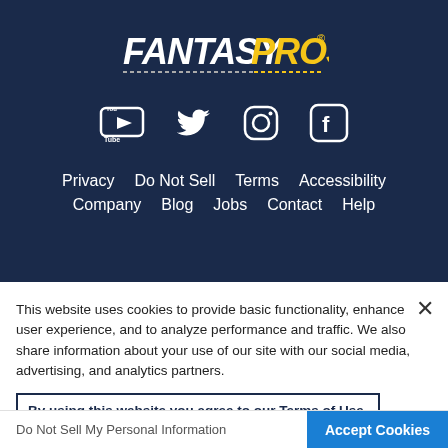[Figure (logo): FantasyPros logo in white and yellow on dark navy background]
[Figure (infographic): Social media icons: YouTube, Twitter, Instagram, Facebook in white on dark navy background]
Privacy   Do Not Sell   Terms   Accessibility   Company   Blog   Jobs   Contact   Help
This website uses cookies to provide basic functionality, enhance user experience, and to analyze performance and traffic. We also share information about your use of our site with our social media, advertising, and analytics partners.
By using this website you agree to our Terms of Use.
Do Not Sell My Personal Information
Accept Cookies